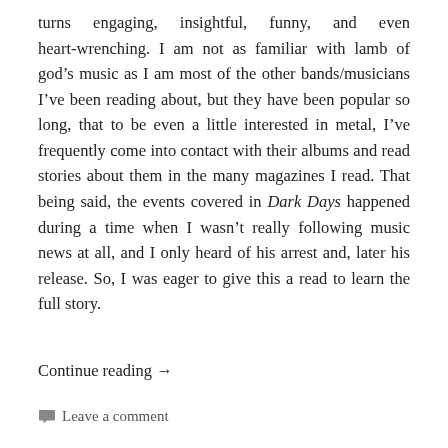turns engaging, insightful, funny, and even heart-wrenching. I am not as familiar with lamb of god's music as I am most of the other bands/musicians I've been reading about, but they have been popular so long, that to be even a little interested in metal, I've frequently come into contact with their albums and read stories about them in the many magazines I read. That being said, the events covered in Dark Days happened during a time when I wasn't really following music news at all, and I only heard of his arrest and, later his release. So, I was eager to give this a read to learn the full story. Continue reading →
Leave a comment